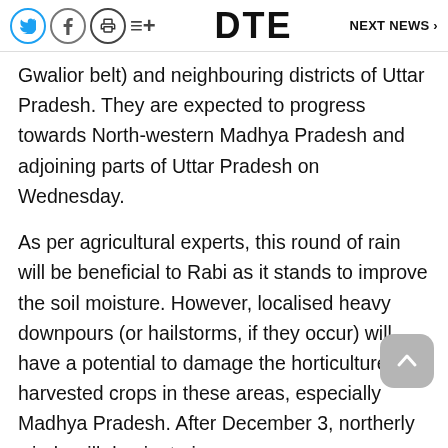DTE  NEXT NEWS >
Gwalior belt) and neighbouring districts of Uttar Pradesh. They are expected to progress towards North-western Madhya Pradesh and adjoining parts of Uttar Pradesh on Wednesday.
As per agricultural experts, this round of rain will be beneficial to Rabi as it stands to improve the soil moisture. However, localised heavy downpours (or hailstorms, if they occur) will have a potential to damage the horticulture and harvested crops in these areas, especially Madhya Pradesh. After December 3, northerly winds will dominate in